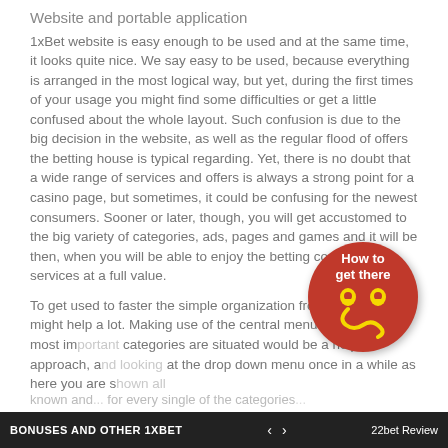Website and portable application
1xBet website is easy enough to be used and at the same time, it looks quite nice. We say easy to be used, because everything is arranged in the most logical way, but yet, during the first times of your usage you might find some difficulties or get a little confused about the whole layout. Such confusion is due to the big decision in the website, as well as the regular flood of offers the betting house is typical regarding. Yet, there is no doubt that a wide range of services and offers is always a strong point for a casino page, but sometimes, it could be confusing for the newest consumers. Sooner or later, though, you will get accustomed to the big variety of categories, ads, pages and games and it will be then, when you will be able to enjoy the betting company' h services at a full value.
To get used to faster the simple organization from the pages might help a lot. Making use of the central menu where all the most im... categories are situated would be a helpful approach, an... at the drop down menu once in a while as here you are s...
known and... for every single of the categories...
[Figure (infographic): Red circular badge with 'How to get there' text in white, yellow map pin icons and a yellow stylized route/path symbol on red background]
BONUSES AND OTHER 1XBET   < >   22bet Review